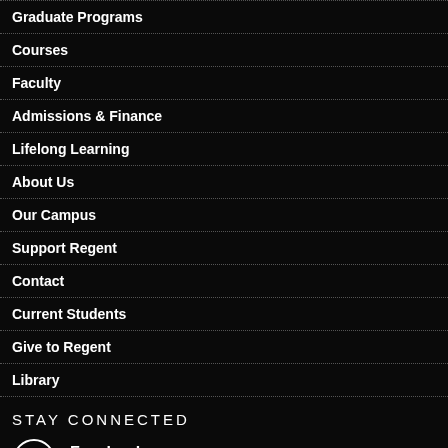Graduate Programs
Courses
Faculty
Admissions & Finance
Lifelong Learning
About Us
Our Campus
Support Regent
Contact
Current Students
Give to Regent
Library
STAY CONNECTED
Facebook Like
Twitter Follow